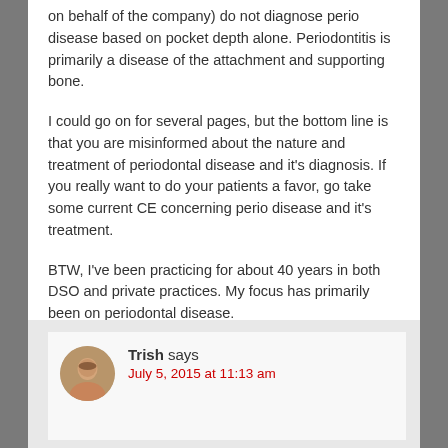on behalf of the company) do not diagnose perio disease based on pocket depth alone. Periodontitis is primarily a disease of the attachment and supporting bone.
I could go on for several pages, but the bottom line is that you are misinformed about the nature and treatment of periodontal disease and it's diagnosis. If you really want to do your patients a favor, go take some current CE concerning perio disease and it's treatment.
BTW, I've been practicing for about 40 years in both DSO and private practices. My focus has primarily been on periodontal disease.
Reply
Trish says
July 5, 2015 at 11:13 am